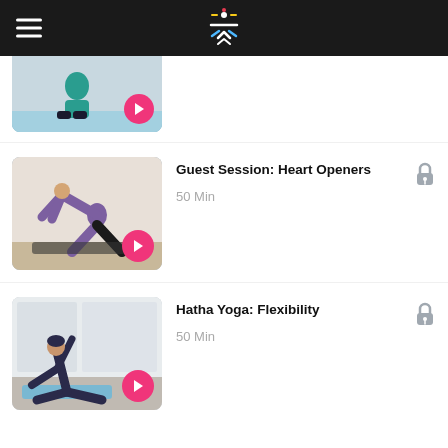[Figure (screenshot): App navigation bar with hamburger menu and yoga app logo]
[Figure (screenshot): Partially visible yoga video thumbnail (child's pose on blue mat)]
Guest Session: Heart Openers
50 Min
[Figure (screenshot): Yoga video thumbnail showing downward dog pose]
Hatha Yoga: Flexibility
50 Min
[Figure (screenshot): Yoga video thumbnail showing triangle pose]